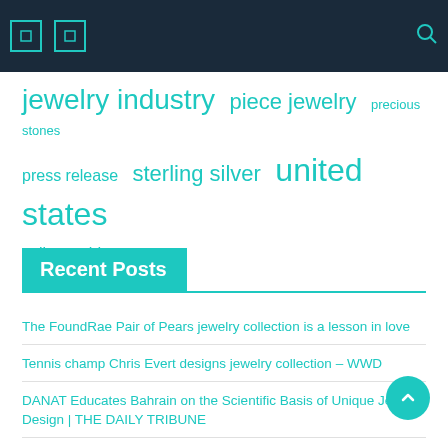Navigation header with icons and search
jewelry industry  piece jewelry  precious stones  press release  sterling silver  united states  yellow gold
Recent Posts
The FoundRae Pair of Pears jewelry collection is a lesson in love
Tennis champ Chris Evert designs jewelry collection – WWD
DANAT Educates Bahrain on the Scientific Basis of Unique Jewelry Design | THE DAILY TRIBUNE
Carly Cushnie collaborates on a Sweet Aquamarine jewelry collection
Tiffany and Co. unveils its first jewelry collection for men and women,